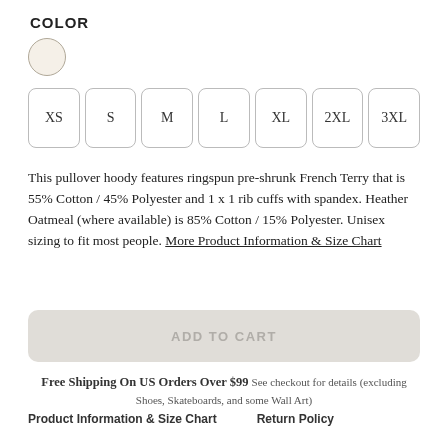COLOR
[Figure (other): A circular color swatch showing an oatmeal/cream color with a grey border]
XS
S
M
L
XL
2XL
3XL
This pullover hoody features ringspun pre-shrunk French Terry that is 55% Cotton / 45% Polyester and 1 x 1 rib cuffs with spandex. Heather Oatmeal (where available) is 85% Cotton / 15% Polyester. Unisex sizing to fit most people. More Product Information & Size Chart
ADD TO CART
Free Shipping On US Orders Over $99 See checkout for details (excluding Shoes, Skateboards, and some Wall Art)
Product Information & Size Chart   Return Policy